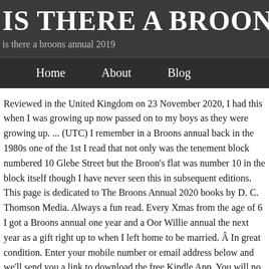IS THERE A BROONS AN
is there a broons annual 2019
Home   About   Blog
Reviewed in the United Kingdom on 23 November 2020, I had this when I was growing up now passed on to my boys as they were growing up. ... (UTC) I remember in a Broons annual back in the 1980s one of the 1st I read that not only was the tenement block numbered 10 Glebe Street but the Broon's flat was number 10 in the block itself though I have never seen this in subsequent editions. This page is dedicated to The Broons Annual 2020 books by D. C. Thomson Media. Always a fun read. Every Xmas from the age of 6 I got a Broons annual one year and a Oor Willie annual the next year as a gift right up to when I left home to be married. Â In great condition. Enter your mobile number or email address below and we'll send you a link to download the free Kindle App. You will no doubt have